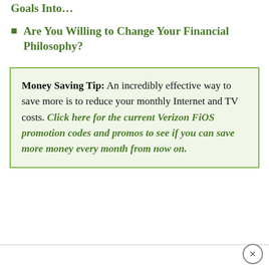Goals Into…
Are You Willing to Change Your Financial Philosophy?
Money Saving Tip: An incredibly effective way to save more is to reduce your monthly Internet and TV costs. Click here for the current Verizon FiOS promotion codes and promos to see if you can save more money every month from now on.